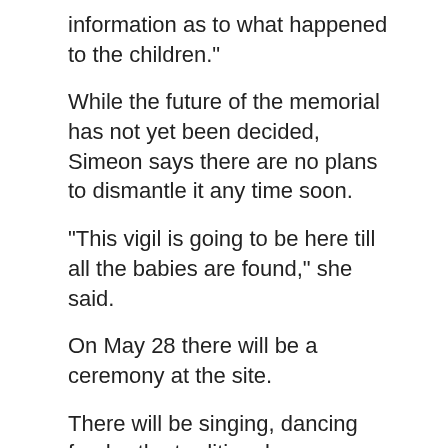information as to what happened to the children."
While the future of the memorial has not yet been decided, Simeon says there are no plans to dismantle it any time soon.
"This vigil is going to be here till all the babies are found," she said.
On May 28 there will be a ceremony at the site.
There will be singing, dancing food -- the traditional way. Everybody's invited and we encourage them to bring more stuffed animals and more shoes," she said.
With files from CTV News Vancouver's Kendra Mangione.